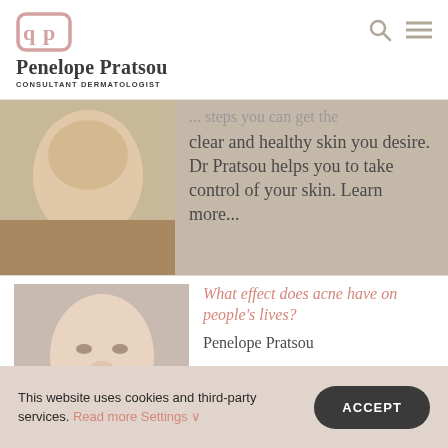Penelope Pratsou — Consultant Dermatologist
[Figure (photo): Partial photo of a person, cropped, used as article thumbnail]
steps you can get the clear and healthy skin you desire. Dr Pratsou helps you to take control of your skin. Learn more...
[Figure (photo): Photo of a woman's face with text label 'QUESTIONS' and caption 'What effect does acne have on people's lives']
What effect does acne have on people's lives?
Penelope Pratsou
This website uses cookies and third-party services. Read more Settings ∨